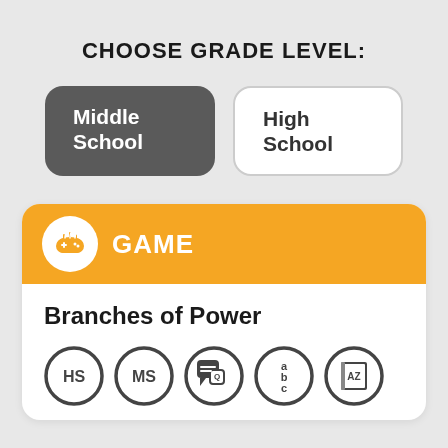CHOOSE GRADE LEVEL:
Middle School
High School
GAME
Branches of Power
[Figure (infographic): Row of five circular badge icons: HS, MS, speech bubble with Q/A, abc stacked, and AZ book]